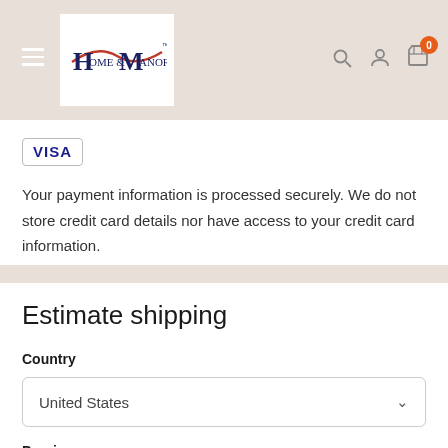[Figure (logo): Home & Manor logo with stylized H and M in navy and red]
Your payment information is processed securely. We do not store credit card details nor have access to your credit card information.
Estimate shipping
Country
United States
Province